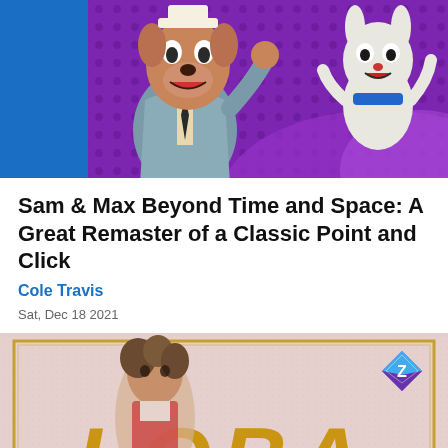[Figure (photo): Review banner image showing Sam and Max characters (animated dog in suit and small white rabbit) on a purple polka-dot background with blue REVIEW banner on left side]
Sam & Max Beyond Time and Space: A Great Remaster of a Classic Point and Click
Cole Travis
Sat, Dec 18 2021
[Figure (photo): Promotional image showing Loba character from Apex Legends in front of a beige/pink textured background with gold LOBA text and gold frame border, with a blue diamond logo in top right]